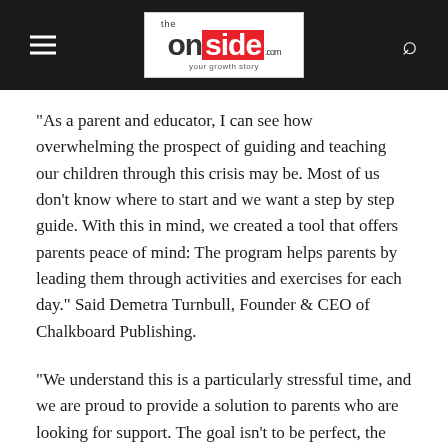the onside .com — your growth story
“As a parent and educator, I can see how overwhelming the prospect of guiding and teaching our children through this crisis may be. Most of us don’t know where to start and we want a step by step guide. With this in mind, we created a tool that offers parents peace of mind: The program helps parents by leading them through activities and exercises for each day.” Said Demetra Turnbull, Founder & CEO of Chalkboard Publishing.
“We understand this is a particularly stressful time, and we are proud to provide a solution to parents who are looking for support. The goal isn’t to be perfect, the goal is to support your child as best you can.”
Chalkboard’s grade specific programs have been designed